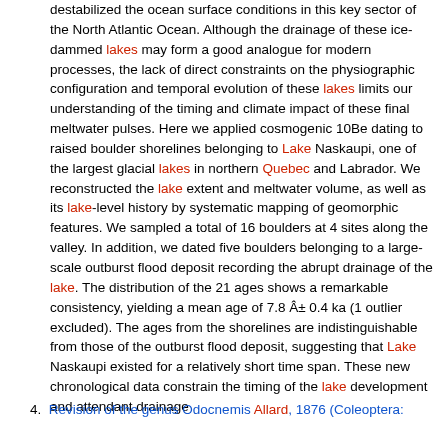destabilized the ocean surface conditions in this key sector of the North Atlantic Ocean. Although the drainage of these ice-dammed lakes may form a good analogue for modern processes, the lack of direct constraints on the physiographic configuration and temporal evolution of these lakes limits our understanding of the timing and climate impact of these final meltwater pulses. Here we applied cosmogenic 10Be dating to raised boulder shorelines belonging to Lake Naskaupi, one of the largest glacial lakes in northern Quebec and Labrador. We reconstructed the lake extent and meltwater volume, as well as its lake-level history by systematic mapping of geomorphic features. We sampled a total of 16 boulders at 4 sites along the valley. In addition, we dated five boulders belonging to a large-scale outburst flood deposit recording the abrupt drainage of the lake. The distribution of the 21 ages shows a remarkable consistency, yielding a mean age of 7.8 Â± 0.4 ka (1 outlier excluded). The ages from the shorelines are indistinguishable from those of the outburst flood deposit, suggesting that Lake Naskaupi existed for a relatively short time span. These new chronological data constrain the timing of the lake development and attendant drainage
4. Revision of the genus Odocnemis Allard, 1876 (Coleoptera: